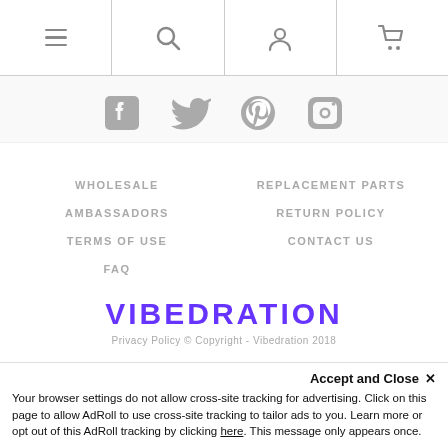Navigation header with menu, search, account, and cart icons
[Figure (illustration): Social media icons row: Facebook, Twitter, Pinterest, Instagram]
WHOLESALE
AMBASSADORS
TERMS OF USE
FAQ
REPLACEMENT PARTS
RETURN POLICY
CONTACT US
VIBEDRATION
Privacy Policy © Copyright - Vibedration 2018
Accept and Close ✕
Your browser settings do not allow cross-site tracking for advertising. Click on this page to allow AdRoll to use cross-site tracking to tailor ads to you. Learn more or opt out of this AdRoll tracking by clicking here. This message only appears once.